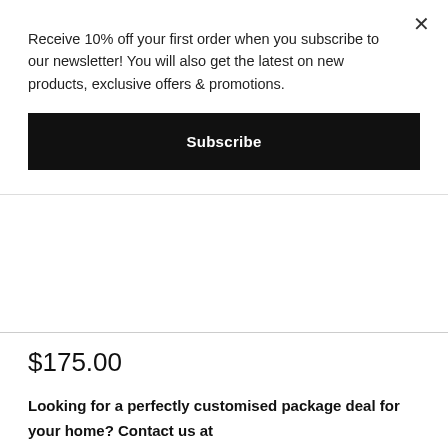Receive 10% off your first order when you subscribe to our newsletter! You will also get the latest on new products, exclusive offers & promotions.
Subscribe
$175.00
Looking for a perfectly customised package deal for your home? Contact us at hello@thebathroomshop.co.nz for exclusive pricing.
DFU200
A range of stylish faucets with all-round appeal. Puretec's DFU Colour Series comes in 11 different colour choices to deliver a